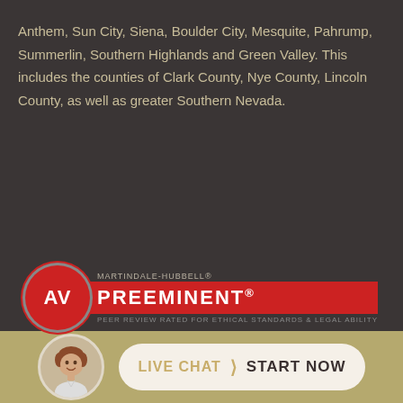Anthem, Sun City, Siena, Boulder City, Mesquite, Pahrump, Summerlin, Southern Highlands and Green Valley. This includes the counties of Clark County, Nye County, Lincoln County, as well as greater Southern Nevada.
[Figure (logo): Martindale-Hubbell AV Preeminent rating badge. Red circle with 'AV' in white, next to a red bar reading 'PREEMINENT®' with small text above and below.]
[Figure (photo): Live chat footer bar with a circular avatar photo of a smiling woman and a rounded button reading 'LIVE CHAT > START NOW']